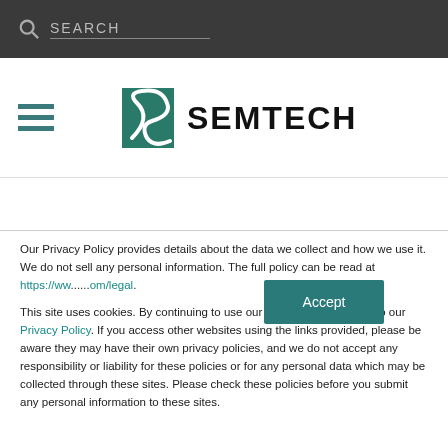SEARCH
[Figure (logo): Semtech logo with teal S icon and SEMTECH wordmark in black]
Our Privacy Policy provides details about the data we collect and how we use it. We do not sell any personal information. The full policy can be read at https://www.semtech.com/legal.
This site uses cookies. By continuing to use our website, you consent to our Privacy Policy. If you access other websites using the links provided, please be aware they may have their own privacy policies, and we do not accept any responsibility or liability for these policies or for any personal data which may be collected through these sites. Please check these policies before you submit any personal information to these sites.